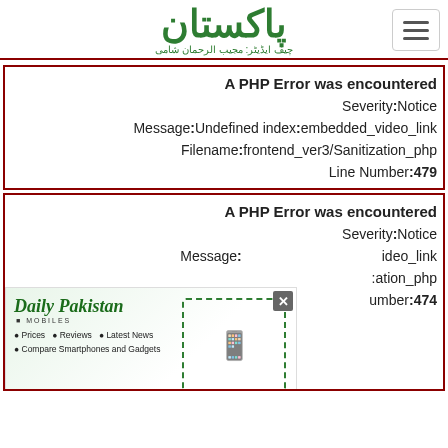[Figure (logo): Daily Pakistan Roznamah logo in Urdu/green script with subtitle]
A PHP Error was encountered
Severity: Notice
Message: Undefined index: embedded_video_link
Filename: frontend_ver3/Sanitization_php
Line Number: 479
A PHP Error was encountered
Severity: Notice
Message: Undefined index: embedded_video_link
Filename: frontend_ver3/Sanitization_php
Line Number: 474
[Figure (screenshot): Daily Pakistan Mobiles advertisement banner with phone images, prices, reviews, latest news links]